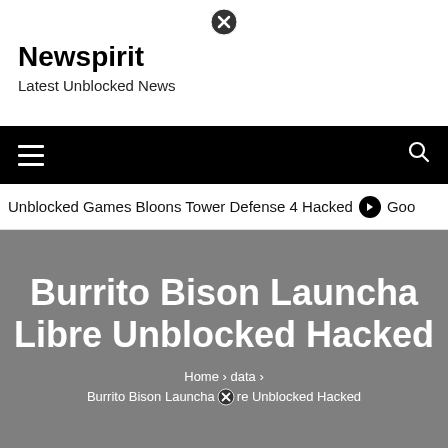[Figure (other): Close/dismiss button circle with X icon at top center]
Newspirit
Latest Unblocked News
Navigation bar with hamburger menu and search icon
Unblocked Games Bloons Tower Defense 4 Hacked  ⊙  Goo
Burrito Bison Launcha Libre Unblocked Hacked
Home › data › Burrito Bison Launcha ⊗re Unblocked Hacked